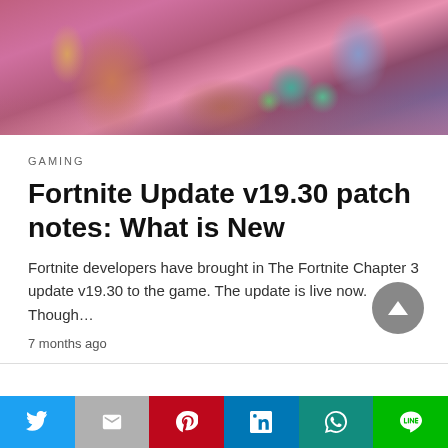[Figure (screenshot): Fortnite game screenshot showing colorful characters and Easter eggs in a pink/purple fantasy environment]
GAMING
Fortnite Update v19.30 patch notes: What is New
Fortnite developers have brought in The Fortnite Chapter 3 update v19.30 to the game. The update is live now. Though…
7 months ago